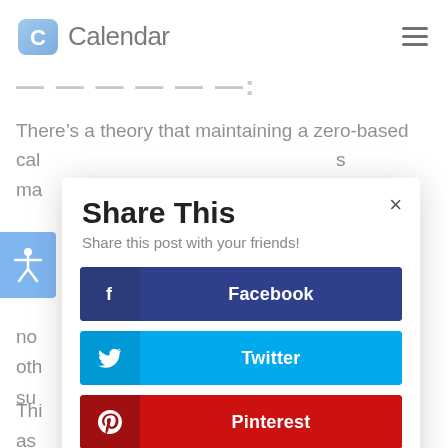Calendar
— — — — — —:
There's a theory that maintaining a zero-based cal... ma... s
[Figure (screenshot): Share This modal dialog with social share buttons: Facebook, Twitter, Pinterest, LinkedIn]
no... oth... su...
Thi... as... e'll h.